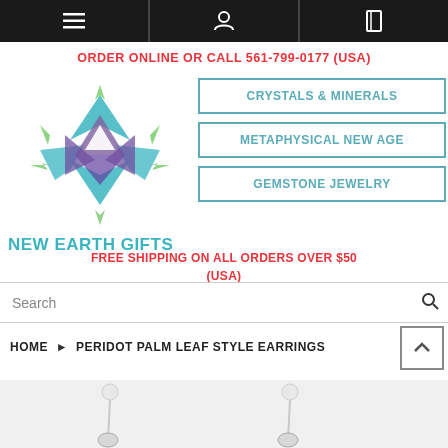[Figure (screenshot): Top navigation bar with dark background, three icons: hamburger menu, user/person icon, and book/catalog icon]
ORDER ONLINE OR CALL 561-799-0177 (USA)
[Figure (logo): New Earth Gifts logo: geometric star/crystal shape in teal, purple, and green colors with text NEW EARTH GIFTS below]
CRYSTALS & MINERALS
METAPHYSICAL NEW AGE
GEMSTONE JEWELRY
FREE SHIPPING ON ALL ORDERS OVER $50 (USA)
Search
HOME › PERIDOT PALM LEAF STYLE EARRINGS
[Figure (photo): Partial product photo showing peridot palm leaf style earrings on a light gray background]